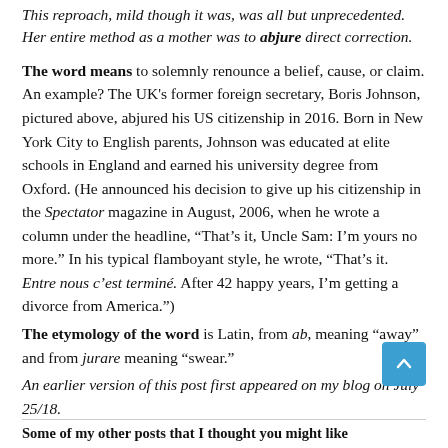This reproach, mild though it was, was all but unprecedented. Her entire method as a mother was to abjure direct correction.
The word means to solemnly renounce a belief, cause, or claim. An example? The UK's former foreign secretary, Boris Johnson, pictured above, abjured his US citizenship in 2016. Born in New York City to English parents, Johnson was educated at elite schools in England and earned his university degree from Oxford. (He announced his decision to give up his citizenship in the Spectator magazine in August, 2006, when he wrote a column under the headline, “That’s it, Uncle Sam: I’m yours no more.” In his typical flamboyant style, he wrote, “That’s it. Entre nous c’est terminé. After 42 happy years, I’m getting a divorce from America.”)
The etymology of the word is Latin, from ab, meaning “away” and from jurare meaning “swear.”
An earlier version of this post first appeared on my blog on July 25/18.
Some of my other posts that I thought you might like